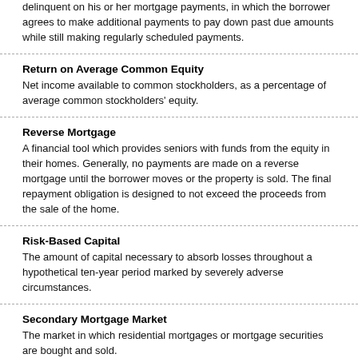delinquent on his or her mortgage payments, in which the borrower agrees to make additional payments to pay down past due amounts while still making regularly scheduled payments.
Return on Average Common Equity
Net income available to common stockholders, as a percentage of average common stockholders' equity.
Reverse Mortgage
A financial tool which provides seniors with funds from the equity in their homes. Generally, no payments are made on a reverse mortgage until the borrower moves or the property is sold. The final repayment obligation is designed to not exceed the proceeds from the sale of the home.
Risk-Based Capital
The amount of capital necessary to absorb losses throughout a hypothetical ten-year period marked by severely adverse circumstances.
Secondary Mortgage Market
The market in which residential mortgages or mortgage securities are bought and sold.